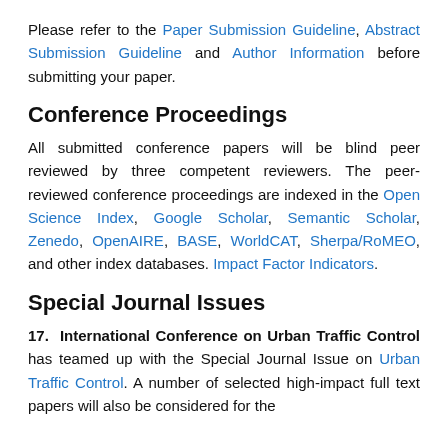Please refer to the Paper Submission Guideline, Abstract Submission Guideline and Author Information before submitting your paper.
Conference Proceedings
All submitted conference papers will be blind peer reviewed by three competent reviewers. The peer-reviewed conference proceedings are indexed in the Open Science Index, Google Scholar, Semantic Scholar, Zenedo, OpenAIRE, BASE, WorldCAT, Sherpa/RoMEO, and other index databases. Impact Factor Indicators.
Special Journal Issues
17. International Conference on Urban Traffic Control has teamed up with the Special Journal Issue on Urban Traffic Control. A number of selected high-impact full text papers will also be considered for the